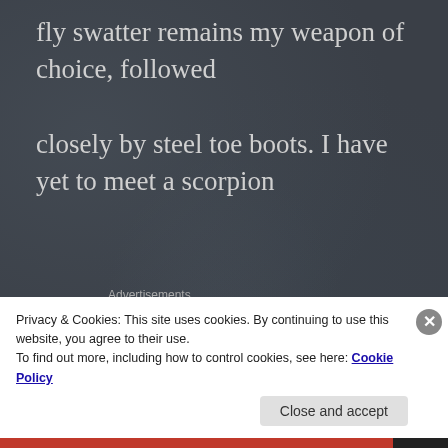fly swatter remains my weapon of choice, followed closely by steel toe boots. I have yet to meet a scorpion
[Figure (other): Advertisements banner with colorful ad strip showing currency symbols]
whose armor could withstand them, but I would never
Privacy & Cookies: This site uses cookies. By continuing to use this website, you agree to their use.
To find out more, including how to control cookies, see here: Cookie Policy
Close and accept